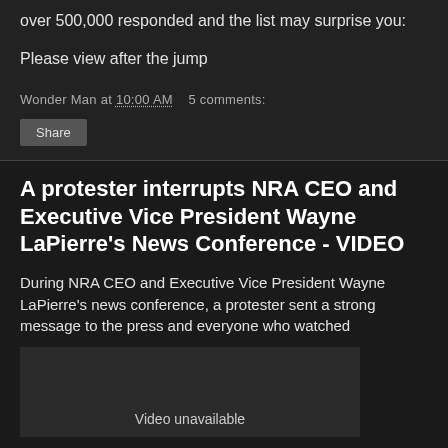over 500,000 responded and the list may surprise you:
Please view after the jump
Wonder Man at 10:00 AM   5 comments:
Share
A protester interrupts NRA CEO and Executive Vice President Wayne LaPierre's News Conference - VIDEO
During NRA CEO and Executive Vice President Wayne LaPierre's news conference, a protester sent a strong message to the press and everyone who watched
[Figure (screenshot): Embedded video player showing 'Video unavailable' message on dark background]